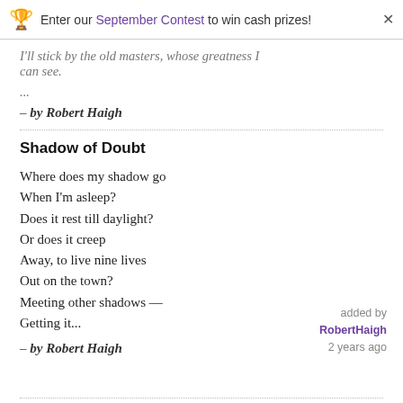Enter our September Contest to win cash prizes!
I'll stick by the old masters, whose greatness I can see.
...
– by Robert Haigh
Shadow of Doubt
Where does my shadow go
When I'm asleep?
Does it rest till daylight?
Or does it creep
Away, to live nine lives
Out on the town?
Meeting other shadows —
Getting it...
– by Robert Haigh
added by RobertHaigh 2 years ago
Dublinesque